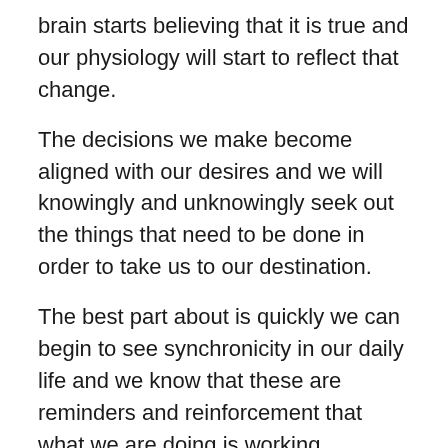brain starts believing that it is true and our physiology will start to reflect that change.
The decisions we make become aligned with our desires and we will knowingly and unknowingly seek out the things that need to be done in order to take us to our destination.
The best part about is quickly we can begin to see synchronicity in our daily life and we know that these are reminders and reinforcement that what we are doing is working.
Not only does this help us create our future but it regulates our bodies in the present. We turn off the stress response in the autonomic nervous system and return to homeostasis.
The infinite intelligence that flows through our bodies and